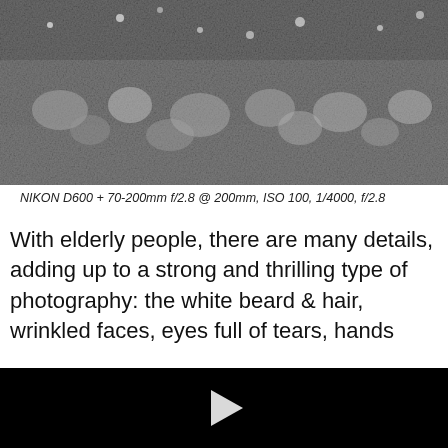[Figure (photo): Black and white macro photograph showing a textured surface with droplets or granular bumps, resembling a close-up of wet or rough material.]
NIKON D600 + 70-200mm f/2.8 @ 200mm, ISO 100, 1/4000, f/2.8
With elderly people, there are many details, adding up to a strong and thrilling type of photography: the white beard & hair, wrinkled faces, eyes full of tears, hands
[Figure (screenshot): Black video player area with a white play button triangle in the center.]